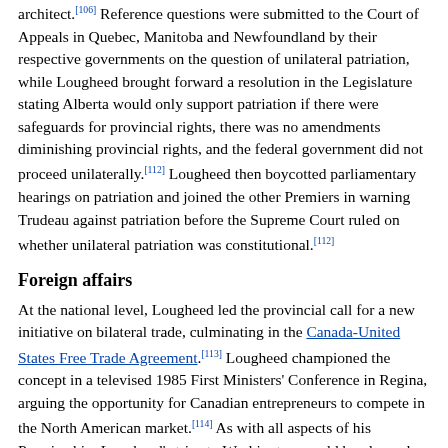architect.[106] Reference questions were submitted to the Court of Appeals in Quebec, Manitoba and Newfoundland by their respective governments on the question of unilateral patriation, while Lougheed brought forward a resolution in the Legislature stating Alberta would only support patriation if there were safeguards for provincial rights, there was no amendments diminishing provincial rights, and the federal government did not proceed unilaterally.[112] Lougheed then boycotted parliamentary hearings on patriation and joined the other Premiers in warning Trudeau against patriation before the Supreme Court ruled on whether unilateral patriation was constitutional.[112]
Foreign affairs
At the national level, Lougheed led the provincial call for a new initiative on bilateral trade, culminating in the Canada-United States Free Trade Agreement.[113] Lougheed championed the concept in a televised 1985 First Ministers' Conference in Regina, arguing the opportunity for Canadian entrepreneurs to compete in the North American market.[114] As with all aspects of his Premiership, Lougheed's trips to Washington would be planned meticulously, "mastering every last tiny detail" and Canadian ambassador to the United States Allan Gotlieb (1981–1989) described Lougheed as "one of the most effective Canadian...